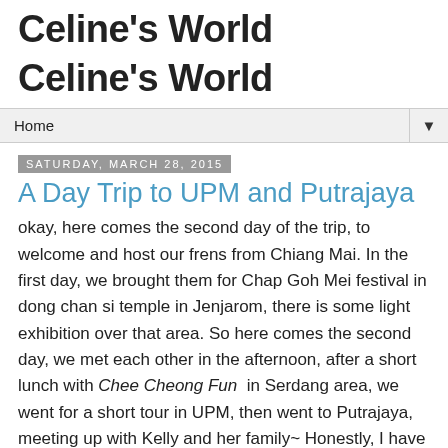Celine's World
Celine's World
Home
Saturday, March 28, 2015
A Day Trip to UPM and Putrajaya
okay, here comes the second day of the trip, to welcome and host our frens from Chiang Mai. In the first day, we brought them for Chap Goh Mei festival in dong chan si temple in Jenjarom, there is some light exhibition over that area. So here comes the second day, we met each other in the afternoon, after a short lunch with Chee Cheong Fun in Serdang area, we went for a short tour in UPM, then went to Putrajaya, meeting up with Kelly and her family~ Honestly, I have no idea how many days have I been to Putrajaya within this year, LOL
[Figure (photo): Photo strip at bottom of page, partially visible blue/water scene]